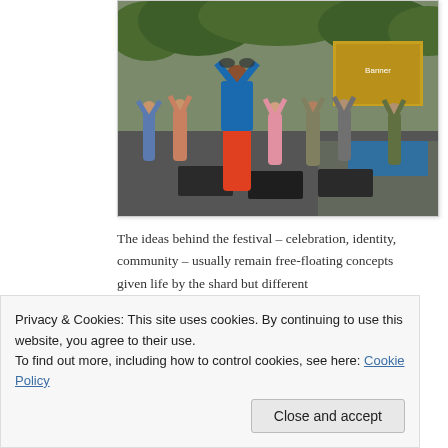[Figure (photo): Outdoor group yoga session: multiple people in matching poses with arms raised overhead forming a circle, standing on black yoga mats on a road or pavement. A green banner and trees visible in the background. A woman in a blue salwar kameez is prominent in the foreground.]
The ideas behind the festival – celebration, identity, community – usually remain free-floating concepts given life by the shard but different
Privacy & Cookies: This site uses cookies. By continuing to use this website, you agree to their use.
To find out more, including how to control cookies, see here: Cookie Policy
Close and accept